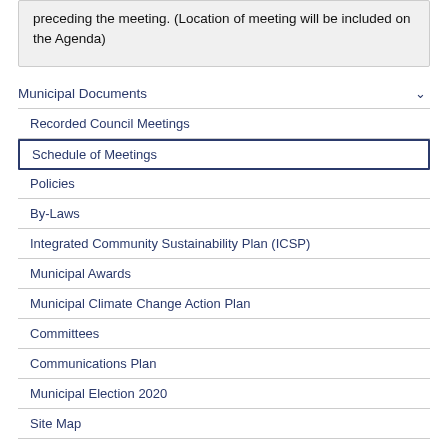preceding the meeting. (Location of meeting will be included on the Agenda)
Municipal Documents
Recorded Council Meetings
Schedule of Meetings
Policies
By-Laws
Integrated Community Sustainability Plan (ICSP)
Municipal Awards
Municipal Climate Change Action Plan
Committees
Communications Plan
Municipal Election 2020
Site Map
Login
Previous Council